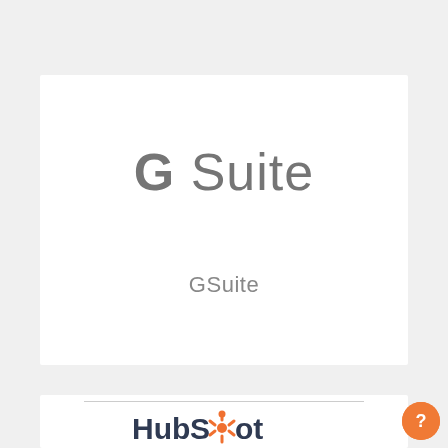[Figure (logo): G Suite logo — large stylized 'G Suite' text in gray on white card background, with 'GSuite' label below]
[Figure (logo): HubSpot logo partially visible — orange circular hub icon with 'HubSpot' text in dark navy, with a horizontal divider line above]